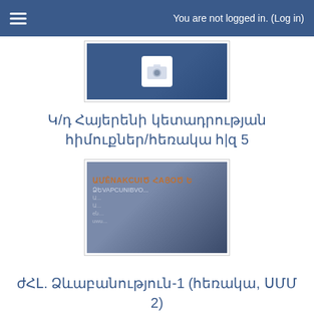You are not logged in. (Log in)
[Figure (illustration): Thumbnail image with camera/envelope icon on blue gradient background]
Կ/դ Հայերենի կետադրության հիմուքներ/հեռակա հ|զ 5
[Figure (illustration): Thumbnail image with Armenian text on blue-grey gradient background]
ժՀԼ. Ձևաբանություն-1 (հեռակա, ՍՄՄ 2)